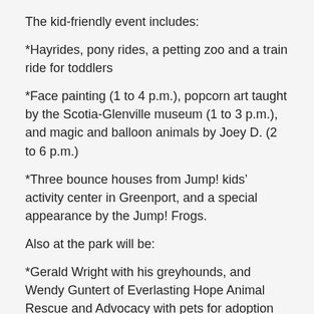The kid-friendly event includes:
*Hayrides, pony rides, a petting zoo and a train ride for toddlers
*Face painting (1 to 4 p.m.), popcorn art taught by the Scotia-Glenville museum (1 to 3 p.m.), and magic and balloon animals by Joey D. (2 to 6 p.m.)
*Three bounce houses from Jump! kids’ activity center in Greenport, and a special appearance by the Jump! Frogs.
Also at the park will be:
*Gerald Wright with his greyhounds, and Wendy Guntert of Everlasting Hope Animal Rescue and Advocacy with pets for adoption
*The Greenport Fire Department with its smoke house, teaching children how to get out of a burning house; as well as information booths by the Columbia County Sheriff’s Office, Greenport Police and Greenport Rescue Squad
*Walgreens will be on hand to offer flu shots
*Music is provided by songstress Valinda Brandow (noon